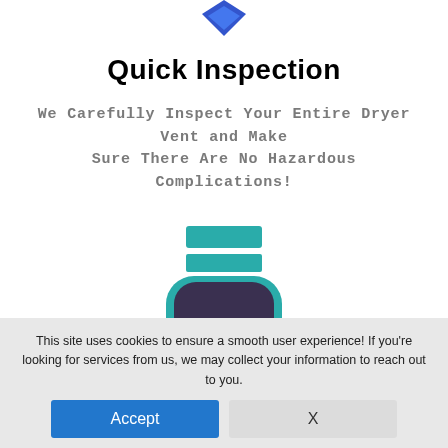[Figure (illustration): Blue shield/diamond icon at top center of page]
Quick Inspection
We Carefully Inspect Your Entire Dryer Vent and Make Sure There Are No Hazardous Complications!
[Figure (illustration): Teal and dark purple bottle/container icon with two teal rectangular strips at the top (cap area), and a rounded rectangular dark body]
This site uses cookies to ensure a smooth user experience! If you're looking for services from us, we may collect your information to reach out to you.
Accept
X